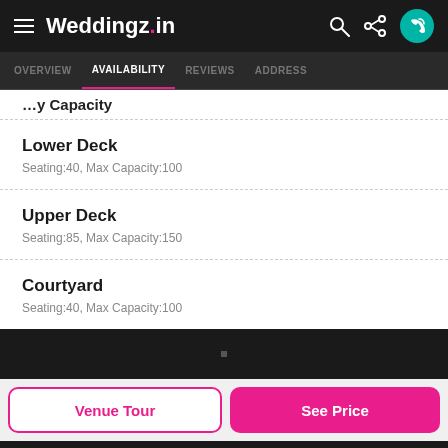Weddingz.in — OVERVIEW | AVAILABILITY | REVIEWS | ADDRESS
...y capacity...
Lower Deck
Seating:40, Max Capacity:100
Upper Deck
Seating:85, Max Capacity:150
Courtyard
Seating:40, Max Capacity:100
Venue Tour
See Price